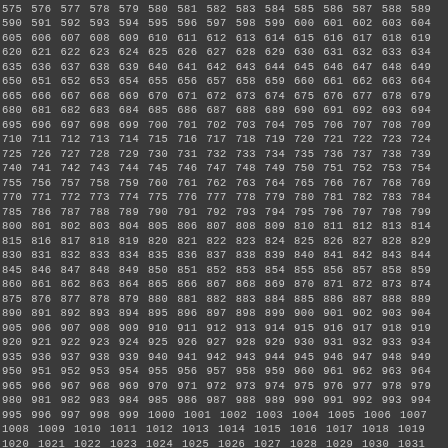575 576 577 578 579 580 581 582 583 584 585 586 587 588 589 590 591 592 593 594 595 596 597 598 599 600 601 602 603 604 605 606 607 608 609 610 611 612 613 614 615 616 617 618 619 620 621 622 623 624 625 626 627 628 629 630 631 632 633 634 635 636 637 638 639 640 641 642 643 644 645 646 647 648 649 650 651 652 653 654 655 656 657 658 659 660 661 662 663 664 665 666 667 668 669 670 671 672 673 674 675 676 677 678 679 680 681 682 683 684 685 686 687 688 689 690 691 692 693 694 695 696 697 698 699 700 701 702 703 704 705 706 707 708 709 710 711 712 713 714 715 716 717 718 719 720 721 722 723 724 725 726 727 728 729 730 731 732 733 734 735 736 737 738 739 740 741 742 743 744 745 746 747 748 749 750 751 752 753 754 755 756 757 758 759 760 761 762 763 764 765 766 767 768 769 770 771 772 773 774 775 776 777 778 779 780 781 782 783 784 785 786 787 788 789 790 791 792 793 794 795 796 797 798 799 800 801 802 803 804 805 806 807 808 809 810 811 812 813 814 815 816 817 818 819 820 821 822 823 824 825 826 827 828 829 830 831 832 833 834 835 836 837 838 839 840 841 842 843 844 845 846 847 848 849 850 851 852 853 854 855 856 857 858 859 860 861 862 863 864 865 866 867 868 869 870 871 872 873 874 875 876 877 878 879 880 881 882 883 884 885 886 887 888 889 890 891 892 893 894 895 896 897 898 899 900 901 902 903 904 905 906 907 908 909 910 911 912 913 914 915 916 917 918 919 920 921 922 923 924 925 926 927 928 929 930 931 932 933 934 935 936 937 938 939 940 941 942 943 944 945 946 947 948 949 950 951 952 953 954 955 956 957 958 959 960 961 962 963 964 965 966 967 968 969 970 971 972 973 974 975 976 977 978 979 980 981 982 983 984 985 986 987 988 989 990 991 992 993 994 995 996 997 998 999 1000 1001 1002 1003 1004 1005 1006 1007 1008 1009 1010 1011 1012 1013 1014 1015 1016 1017 1018 1019 1020 1021 1022 1023 1024 1025 1026 1027 1028 1029 1030 1031 1032 1033 1034 1035 1036 1037 1038 1039 1040 1041 1042 1043 1044 1045 1046 1047 1048 1049 1050 1051 1052 1053 1054 1055 1056 1057 1058 1059 1060 1061 1062 1063 1064 1065 1066 1067 1068 1069 1070 1071 1072 1073 1074 1075 1076 1077 1078 1079 1080 1081 1082 1083 1084 1085 1086 1087 1088 1089 1090 1091 1092 1093 1094 1095 1096 1097 1098 1099 1100 1101 1102 1103 1104 1105 1106 1107 1108 1109 1110 1111 1112 1113 1114 1115 1116 1117 1118 1119 1120 1121 1122 1123 1124 1125 1126 1127 1128 1129 1130 1131 1132 1133 1134 1135 1136 1137 1138 1139 1140 1141 1142 1143 1144 1145 1146 1147 1148 1149 1150 1151 1152 1153 1154 1155 1156 1157 1158 1159 1160 1161 1162 1163 1164 1165 1166 1167 1168 1169 1170 1171 1172 1173 1174 1175 1176 1177 1178 1179 1180 1181 1182 1183 1184 1185 1186 1187 1188 1189 1190 1191 1192 1193 1194 1195 1196 1197 1198 1199 1200 1201 1202 1203 1204 1205 1206 1207 1208 1209